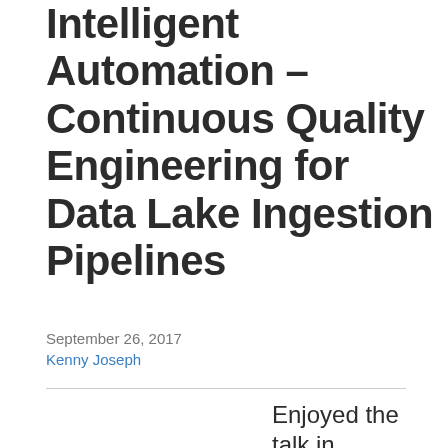Intelligent Automation – Continuous Quality Engineering for Data Lake Ingestion Pipelines
September 26, 2017
Kenny Joseph
Enjoyed the talk in